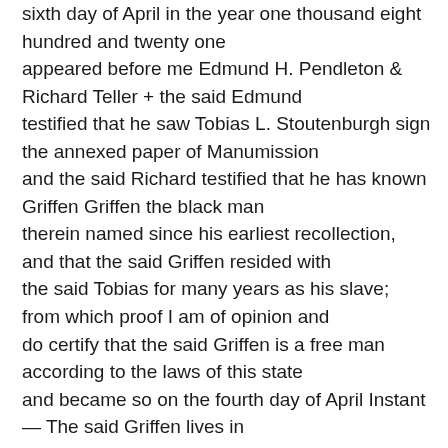sixth day of April in the year one thousand eight hundred and twenty one appeared before me Edmund H. Pendleton & Richard Teller + the said Edmund testified that he saw Tobias L. Stoutenburgh sign the annexed paper of Manumission and the said Richard testified that he has known Griffen Griffen the black man therein named since his earliest recollection, and that the said Griffen resided with the said Tobias for many years as his slave; from which proof I am of opinion and do certify that the said Griffen is a free man according to the laws of this state and became so on the fourth day of April Instant — The said Griffen lives in